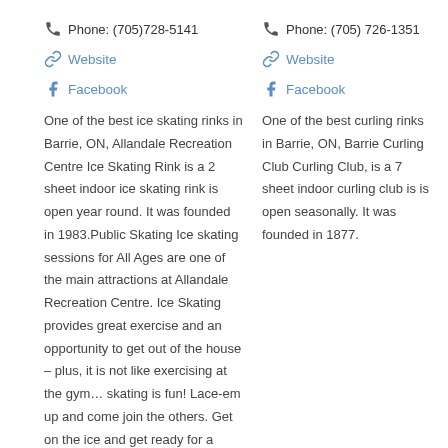Phone: (705)728-5141
Website
Facebook
One of the best ice skating rinks in Barrie, ON, Allandale Recreation Centre Ice Skating Rink is a 2 sheet indoor ice skating rink is open year round. It was founded in 1983.Public Skating Ice skating sessions for All Ages are one of the main attractions at Allandale Recreation Centre. Ice Skating provides great exercise and an opportunity to get out of the house – plus, it is not like exercising at the gym… skating is fun! Lace-em up and come join the others. Get on the ice and get ready for a great experience. If you do not see the
Phone: (705) 726-1351
Website
Facebook
One of the best curling rinks in Barrie, ON, Barrie Curling Club Curling Club, is a 7 sheet indoor curling club is is open seasonally. It was founded in 1877.